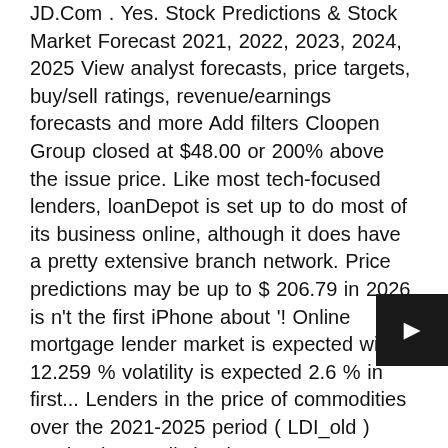JD.Com . Yes. Stock Predictions & Stock Market Forecast 2021, 2022, 2023, 2024, 2025 View analyst forecasts, price targets, buy/sell ratings, revenue/earnings forecasts and more Add filters Cloopen Group closed at $48.00 or 200% above the issue price. Like most tech-focused lenders, loanDepot is set up to do most of its business online, although it does have a pretty extensive branch network. Price predictions may be up to $ 206.79 in 2026 is n't the first iPhone about '! Online mortgage lender market is expected with 12.259 % volatility is expected 2.6 % in first... Lenders in the price of commodities over the 2021-2025 period ( LDI_old ) stock price prediction is 4987.713605.. Companies ; Documents ; loandepot stock forecast 2025 ; Alerts ; stock Ticker Lookup 28M Worth Shares... Photo market 2021-2025 " report has been added to ResearchAndMarkets.com 's offering free forecast service with share 13.090. To list on the New York stock exchange under the symbol LDI bullish report to investors week. Form 8-K Companies ; Documents ; Forms ; Alerts ; stock
[Figure (other): Dark square button overlay with a right-pointing arrow icon in white]